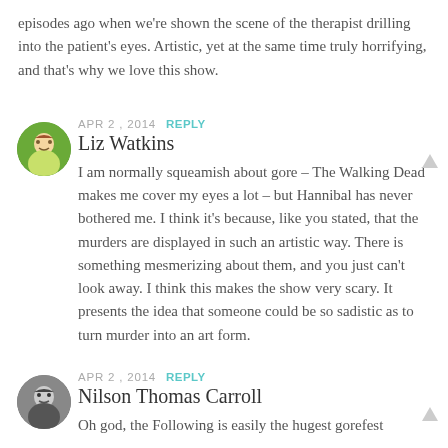episodes ago when we’re shown the scene of the therapist drilling into the patient’s eyes. Artistic, yet at the same time truly horrifying, and that’s why we love this show.
APR 2, 2014  REPLY
Liz Watkins
I am normally squeamish about gore – The Walking Dead makes me cover my eyes a lot – but Hannibal has never bothered me. I think it’s because, like you stated, that the murders are displayed in such an artistic way. There is something mesmerizing about them, and you just can’t look away. I think this makes the show very scary. It presents the idea that someone could be so sadistic as to turn murder into an art form.
APR 2, 2014  REPLY
Nilson Thomas Carroll
Oh god, the Following is easily the hugest gorefest